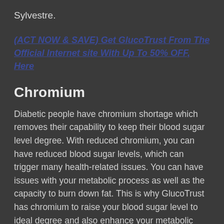Sylvestre.
(ACT NOW & SAVE) Get GlucoTrust From The Official Internet site With Up To 50% OFF, Here
Chromium
Diabetic people have chromium shortage which removes their capability to keep their blood sugar level degree. With reduced chromium, you can have reduced blood sugar levels, which can trigger many health-related issues. You can have issues with your metabolic process as well as the capacity to burn down fat. This is why GlucoTrust has chromium to raise your blood sugar level to ideal degree and also enhance your metabolic rate.